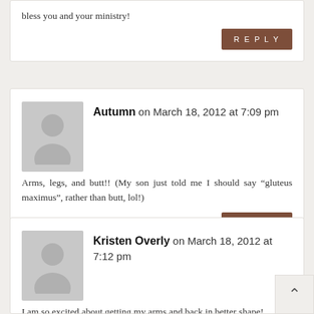bless you and your ministry!
REPLY
Autumn on March 18, 2012 at 7:09 pm
Arms, legs, and butt!! (My son just told me I should say “gluteus maximus”, rather than butt, lol!)
REPLY
Kristen Overly on March 18, 2012 at 7:12 pm
I am so excited about getting my arms and back in better shape!